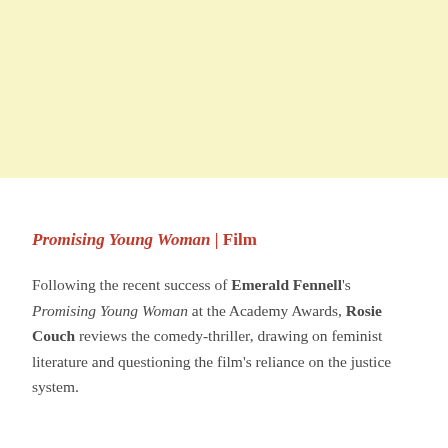[Figure (other): Pale yellow background block occupying the top portion of the page]
Promising Young Woman | Film
Following the recent success of Emerald Fennell's Promising Young Woman at the Academy Awards, Rosie Couch reviews the comedy-thriller, drawing on feminist literature and questioning the film's reliance on the justice system.